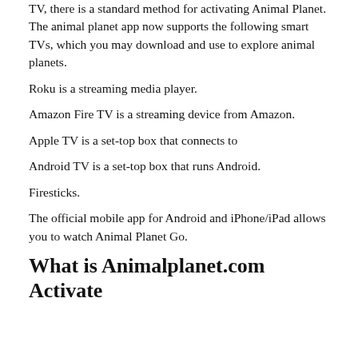TV, there is a standard method for activating Animal Planet. The animal planet app now supports the following smart TVs, which you may download and use to explore animal planets.
Roku is a streaming media player.
Amazon Fire TV is a streaming device from Amazon.
Apple TV is a set-top box that connects to
Android TV is a set-top box that runs Android.
Firesticks.
The official mobile app for Android and iPhone/iPad allows you to watch Animal Planet Go.
What is Animalplanet.com Activate